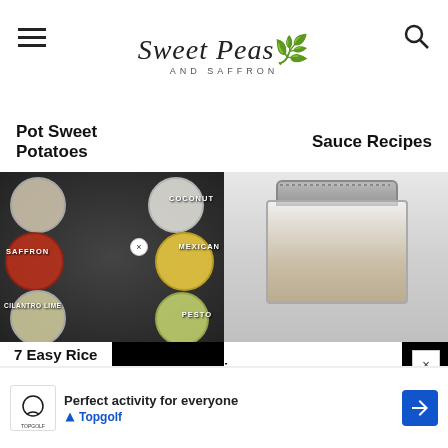Sweet Peas and Saffron
Pot Sweet Potatoes
Sauce Recipes
[Figure (photo): Overhead view of multiple rice bowls on a dark surface, labeled with rice types: COCONUT, SAFFRON, MEXICAN, CILANTRO LIME, PESTO]
[Figure (photo): A glass mason jar with a silver lid containing a sauce or dressing, on a light gray background]
7 Easy Rice Recipes
ing
[Figure (other): Advertisement for Topgolf: Perfect activity for everyone, with Topgolf logo and blue arrow button]